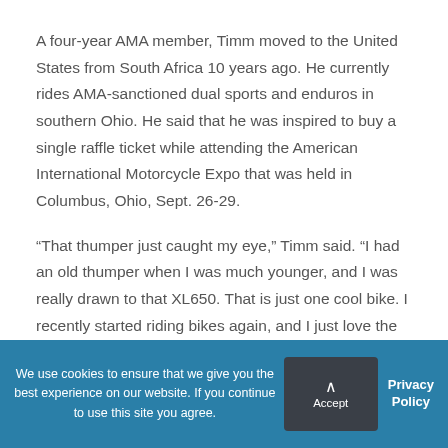A four-year AMA member, Timm moved to the United States from South Africa 10 years ago. He currently rides AMA-sanctioned dual sports and enduros in southern Ohio. He said that he was inspired to buy a single raffle ticket while attending the American International Motorcycle Expo that was held in Columbus, Ohio, Sept. 26-29.
“That thumper just caught my eye,” Timm said. “I had an old thumper when I was much younger, and I was really drawn to that XL650. That is just one cool bike. I recently started riding bikes again, and I just love the
We use cookies to ensure that we give you the best experience on our website. If you continue to use this site you agree.